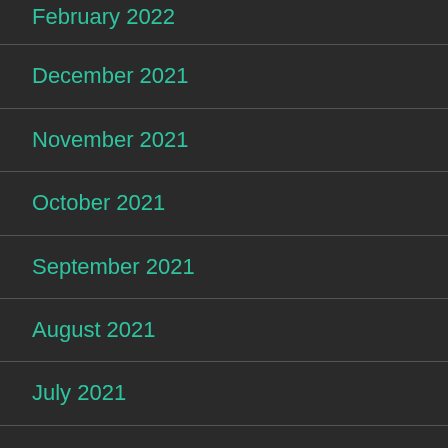February 2022
December 2021
November 2021
October 2021
September 2021
August 2021
July 2021
June 2021
May 2021